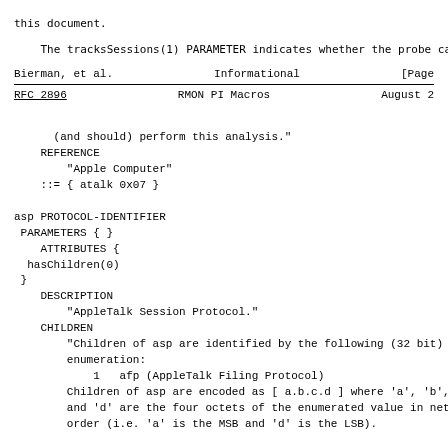this document.

    The tracksSessions(1) PARAMETER indicates whether the probe ca
Bierman, et al.                Informational                    [Page
RFC 2896                    RMON PI Macros                   August 2
(and should) perform this analysis."
    REFERENCE
        "Apple Computer"
    ::= { atalk 0x07 }

asp PROTOCOL-IDENTIFIER
 PARAMETERS { }
    ATTRIBUTES {
  hasChildren(0)
 }
    DESCRIPTION
        "AppleTalk Session Protocol."
    CHILDREN
        "Children of asp are identified by the following (32 bit)
        enumeration:
            1   afp (AppleTalk Filing Protocol)
        Children of asp are encoded as [ a.b.c.d ] where 'a', 'b', 'c'
        and 'd' are the four octets of the enumerated value in network
        order (i.e. 'a' is the MSB and 'd' is the LSB).

        The AFP protocol is referred to as 'asp afp' OR 'asp 1'."
    DECODING
        "ASP is a helper layer to assist in building client/server
        protocols.  It cooperates with ATP to achieve this; the
        mechanisms used when decoding ATP apply equally here (i.e.